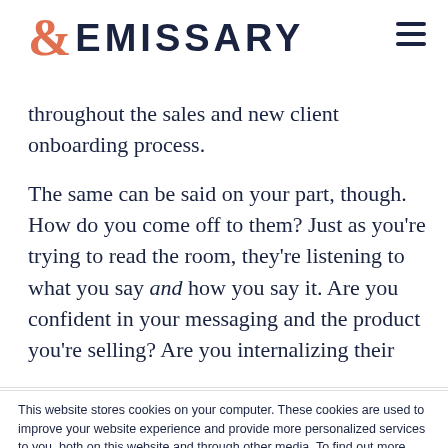EMISSARY
throughout the sales and new client onboarding process.
The same can be said on your part, though. How do you come off to them? Just as you're trying to read the room, they're listening to what you say and how you say it. Are you confident in your messaging and the product you're selling? Are you internalizing their
This website stores cookies on your computer. These cookies are used to improve your website experience and provide more personalized services to you, both on this website and through other media. To find out more about the cookies we use, see our Privacy Policy.
We won't track your information when you visit our site. But in order to comply with your preferences, we'll have to use just one tiny cookie so that you're not asked to make this choice again.
Accept | Decline